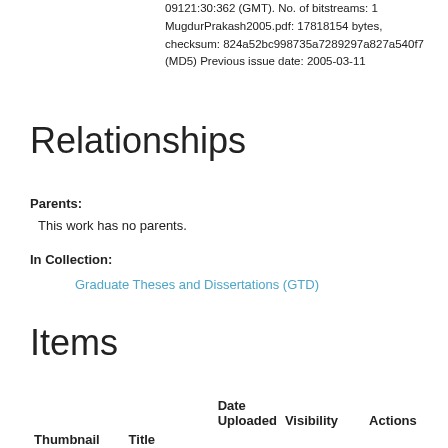09121:30:362 (GMT). No. of bitstreams: 1 MugdurPrakash2005.pdf: 17818154 bytes, checksum: 824a52bc998735a7289297a827a540f7 (MD5) Previous issue date: 2005-03-11
Relationships
Parents:
This work has no parents.
In Collection:
Graduate Theses and Dissertations (GTD)
Items
| Thumbnail | Title | Date
Uploaded | Visibility | Actions |
| --- | --- | --- | --- | --- |